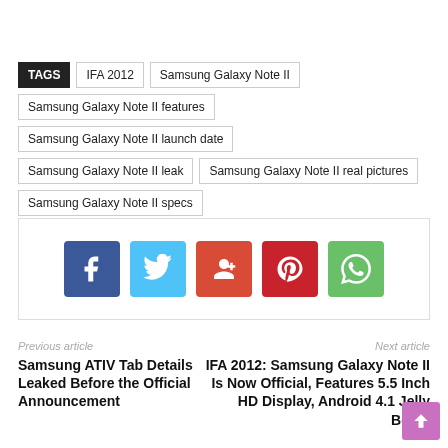TAGS  IFA 2012  Samsung Galaxy Note II
Samsung Galaxy Note II features  Samsung Galaxy Note II launch date
Samsung Galaxy Note II leak  Samsung Galaxy Note II real pictures
Samsung Galaxy Note II specs
[Figure (infographic): Social share buttons: Facebook, Twitter, Google+, Pinterest, WhatsApp]
Previous article
Samsung ATIV Tab Details Leaked Before the Official Announcement
Next article
IFA 2012: Samsung Galaxy Note II Is Now Official, Features 5.5 Inch HD Display, Android 4.1 Jelly Bean!